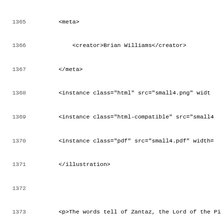Code listing showing XML/HTML source lines 1365-1397, including meta, creator, illustration, section, data, p, and choice elements for a gamebook XML structure.